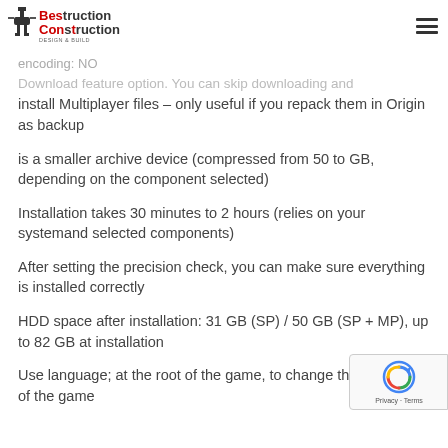Best Construction - Design & Build [logo with hamburger menu]
Download feature option. You can skip downloading and install Multiplayer files – only useful if you repack them in Origin as backup
is a smaller archive device (compressed from 50 to GB, depending on the component selected)
Installation takes 30 minutes to 2 hours (relies on your systemand selected components)
After setting the precision check, you can make sure everything is installed correctly
HDD space after installation: 31 GB (SP) / 50 GB (SP + MP), up to 82 GB at installation
Use language; at the root of the game, to change the language of the game